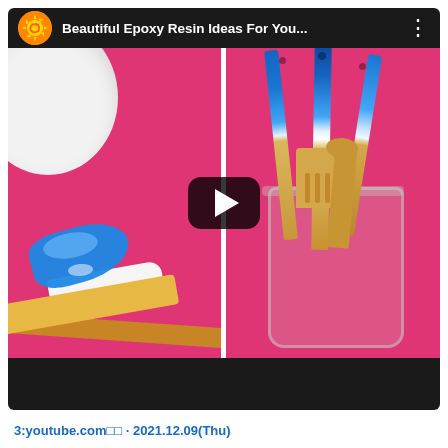[Figure (screenshot): YouTube video thumbnail for 'Beautiful Epoxy Resin Ideas For You...' showing a split-screen: left side has blue epoxy resin being poured onto a white spatula on a pink background, right side shows bamboo kitchen utensils with blue ocean-pattern epoxy resin handles in a glass jar on pink background. A play button is overlaid in the center.]
3:youtube.com□□ · 2021.12.09(Thu)